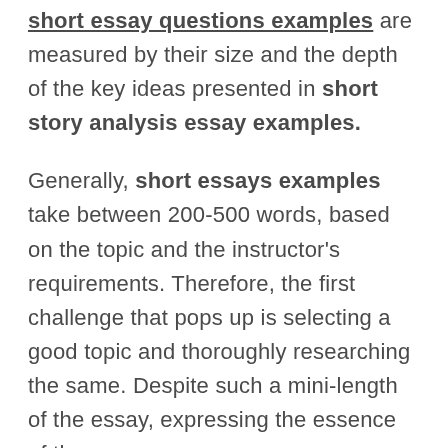short essay questions examples are measured by their size and the depth of the key ideas presented in short story analysis essay examples.
Generally, short essays examples take between 200-500 words, based on the topic and the instructor's requirements. Therefore, the first challenge that pops up is selecting a good topic and thoroughly researching the same. Despite such a mini-length of the essay, expressing the essence of the